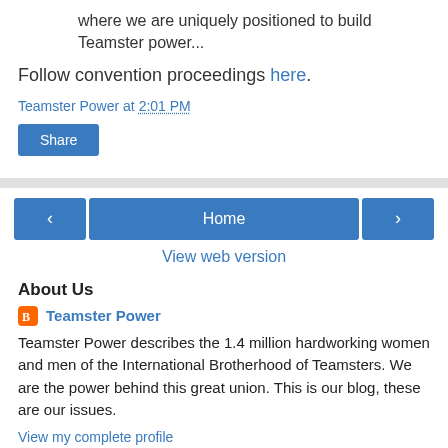where we are uniquely positioned to build Teamster power...
Follow convention proceedings here.
Teamster Power at 2:01 PM
Share
Home
View web version
About Us
Teamster Power
Teamster Power describes the 1.4 million hardworking women and men of the International Brotherhood of Teamsters. We are the power behind this great union. This is our blog, these are our issues.
View my complete profile